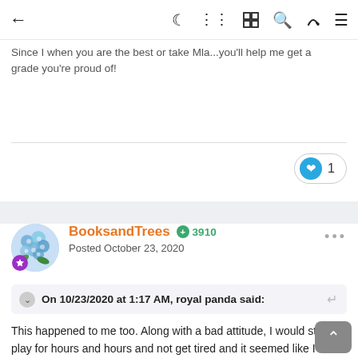← (navigation bar with icons: moon, grid, search, brush, menu)
just do it with Aollar but not the important things?
Since I when you are the best or take Mla...you'll help me get a grade you're proud of!
1 (like)
BooksandTrees  + 3910
Posted October 23, 2020
On 10/23/2020 at 1:17 AM, royal panda said:
This happened to me too. Along with a bad attitude, I would still play for hours and hours and not get tired and it seemed like I wasn't cranky. Why do you think this is, that we can stay up for really long hours just constantly playing games, yet then for work, we need to take breaks from time to time? I understand one is passive and not challenging your brain at all, and when your brain is